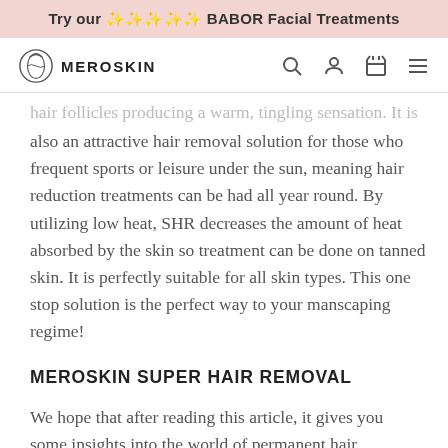Try our ✨✨✨✨✨ BABOR Facial Treatments
[Figure (logo): Meroskin logo: circular emblem with stylized face/leaf design, followed by MEROSKIN text and navigation icons (search, user, cart, menu)]
hair follicles producing a warm, tingling sensation. It is also an attractive hair removal solution for those who frequent sports or leisure under the sun, meaning hair reduction treatments can be had all year round. By utilizing low heat, SHR decreases the amount of heat absorbed by the skin so treatment can be done on tanned skin. It is perfectly suitable for all skin types. This one stop solution is the perfect way to your manscaping regime!
MEROSKIN SUPER HAIR REMOVAL
We hope that after reading this article, it gives you some insights into the world of permanent hair removal for